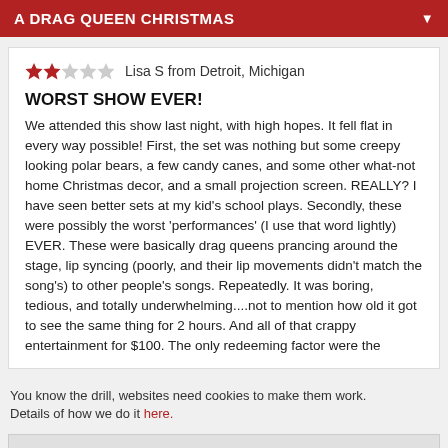A DRAG QUEEN CHRISTMAS
★★☆☆☆  Lisa S from Detroit, Michigan
WORST SHOW EVER!
We attended this show last night, with high hopes. It fell flat in every way possible! First, the set was nothing but some creepy looking polar bears, a few candy canes, and some other what-not home Christmas decor, and a small projection screen. REALLY? I have seen better sets at my kid's school plays. Secondly, these were possibly the worst 'performances' (I use that word lightly) EVER. These were basically drag queens prancing around the stage, lip syncing (poorly, and their lip movements didn't match the song's) to other people's songs. Repeatedly. It was boring, tedious, and totally underwhelming....not to mention how old it got to see the same thing for 2 hours. And all of that crappy entertainment for $100. The only redeeming factor were the
You know the drill, websites need cookies to make them work. Details of how we do it here.
Got it!